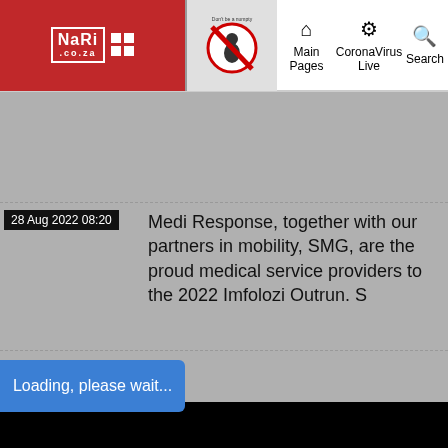NARI.co.za | Main Pages | CoronaVirus Live | Search
28 Aug 2022 08:20
Medi Response, together with our partners in mobility, SMG, are the proud medical service providers to the 2022 Imfolozi Outrun. S
Loading, please wait...